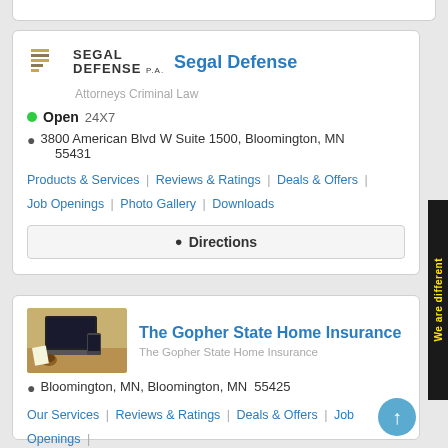Segal Defense | Attorneys Criminal Law | Open 24X7 | 3800 American Blvd W Suite 1500, Bloomington, MN 55431
Products & Services | Reviews & Ratings | Deals & Offers | Job Openings | Photo Gallery | Downloads
Directions
The Gopher State Home Insurance
The Gopher State Home Insurance
Bloomington, MN, Bloomington, MN  55425
Our Services | Reviews & Ratings | Deals & Offers | Job Openings | Photo Gallery | Downloads
Directions